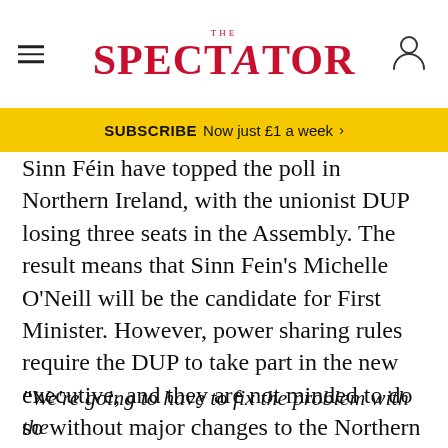THE SPECTATOR
SUBSCRIBE  Now just £1 a week  >
Sinn Fein have topped the poll in Northern Ireland, with the unionist DUP losing three seats in the Assembly. The result means that Sinn Fein's Michelle O'Neill will be the candidate for First Minister. However, power sharing rules require the DUP to take part in the new executive, and they are not minded to do so without major changes to the Northern Ireland Protocol. Sophie Raworth asked Raab about what the government planned to do to smooth things over:
"We're going to have to fix the problem with the